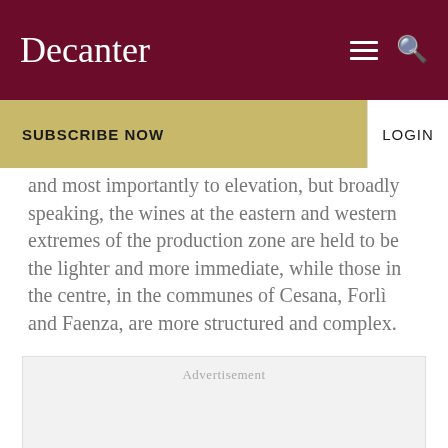Decanter
SUBSCRIBE NOW
LOGIN
and most importantly to elevation, but broadly speaking, the wines at the eastern and western extremes of the production zone are held to be the lighter and more immediate, while those in the centre, in the communes of Cesana, Forlì and Faenza, are more structured and complex.
Advertisement